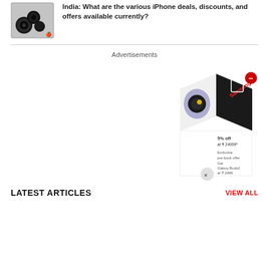[Figure (photo): iPhone camera module close-up photo showing multiple camera lenses on a grey device]
India: What are the various iPhone deals, discounts, and offers available currently?
Advertisements
[Figure (other): Samsung Galaxy Watch advertisement cube showing pre-book offer. Text: 5% off at ₹24999*, Exclusive pre-book offer. Get Galaxy Buds2 at ₹2999]
LATEST ARTICLES
VIEW ALL